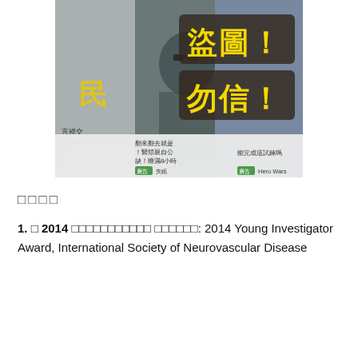[Figure (photo): Screenshot of a person holding something, overlaid with a warning watermark in Chinese characters reading '盜圖！勿信！' (Stolen image! Don't believe!) in yellow text on dark background. Below are ad banners with Chinese text.]
□□□□
1. □ 2014 □□□□□□□□□□□ □□□□□□: 2014 Young Investigator Award, International Society of Neurovascular Disease